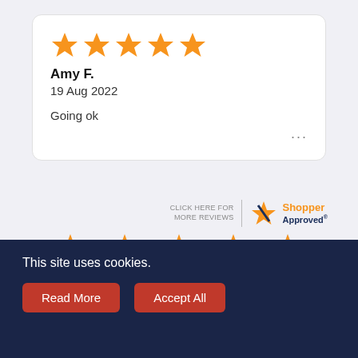[Figure (other): Review card with 5 orange stars, reviewer name Amy F., date 19 Aug 2022, review text 'Going ok', and ellipsis menu]
[Figure (logo): Shopper Approved badge with 'Click here for more reviews' text, divider line, star logo, and 'Shopper Approved' text in orange and navy]
[Figure (other): 4.8 out of 5 star rating shown with 4 full orange stars and 1 partial star]
4.8/5 STAR RATING
This site uses cookies.
Read More
Accept All